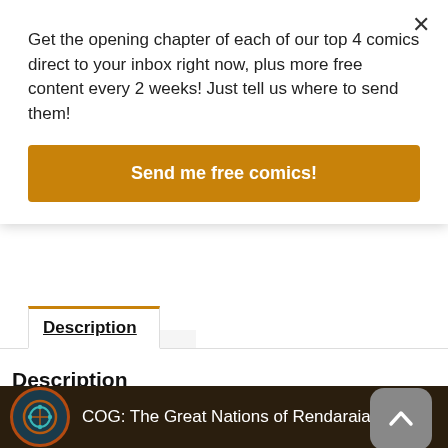Get the opening chapter of each of our top 4 comics direct to your inbox right now, plus more free content every 2 weeks! Just tell us where to send them!
Send me free comics!
Description
Description
About the book:
[Figure (screenshot): Video thumbnail showing COG: The Great Nations of Rendaraia with a circular logo icon on dark background]